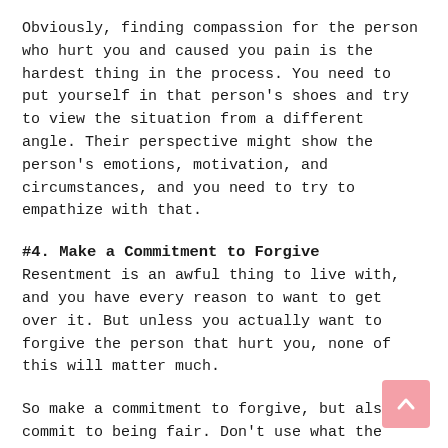Obviously, finding compassion for the person who hurt you and caused you pain is the hardest thing in the process. You need to put yourself in that person's shoes and try to view the situation from a different angle. Their perspective might show the person's emotions, motivation, and circumstances, and you need to try to empathize with that.
#4. Make a Commitment to Forgive
Resentment is an awful thing to live with, and you have every reason to want to get over it. But unless you actually want to forgive the person that hurt you, none of this will matter much.
So make a commitment to forgive, but also commit to being fair. Don't use what the person has done to you as a weapon at a later time.